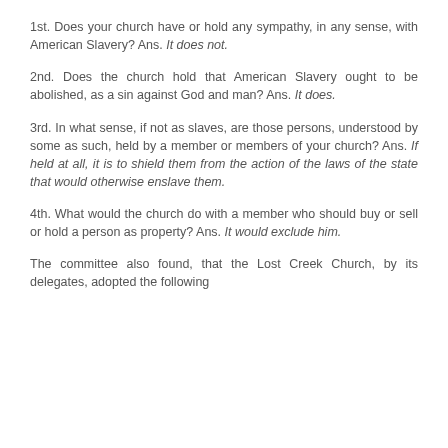1st. Does your church have or hold any sympathy, in any sense, with American Slavery? Ans. It does not.
2nd. Does the church hold that American Slavery ought to be abolished, as a sin against God and man? Ans. It does.
3rd. In what sense, if not as slaves, are those persons, understood by some as such, held by a member or members of your church? Ans. If held at all, it is to shield them from the action of the laws of the state that would otherwise enslave them.
4th. What would the church do with a member who should buy or sell or hold a person as property? Ans. It would exclude him.
The committee also found, that the Lost Creek Church, by its delegates, adopted the following